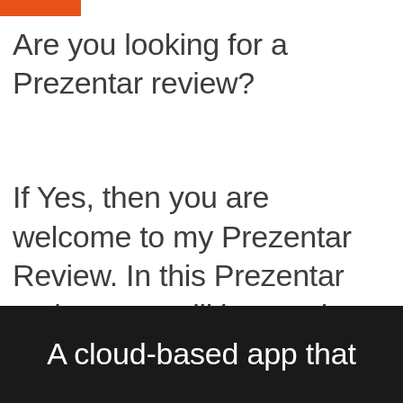[Figure (other): Orange/red horizontal bar at top left]
Are you looking for a Prezentar review?
If Yes, then you are welcome to my Prezentar Review. In this Prezentar review, you will know what exactly Prezentar software is and see what all the noise in the marketplace is about.
A cloud-based app that